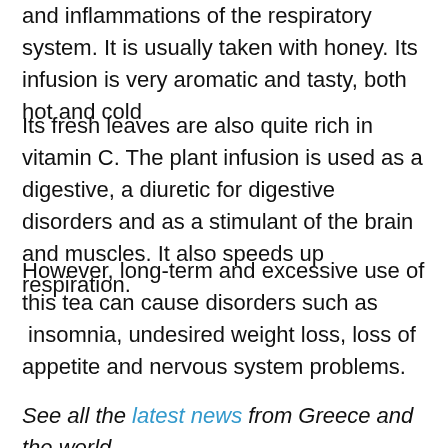and inflammations of the respiratory system. It is usually taken with honey. Its infusion is very aromatic and tasty, both hot and cold
Its fresh leaves are also quite rich in vitamin C. The plant infusion is used as a digestive, a diuretic for digestive disorders and as a stimulant of the brain and muscles. It also speeds up respiration.
However, long-term and excessive use of this tea can cause disorders such as  insomnia, undesired weight loss, loss of appetite and nervous system problems.
See all the latest news from Greece and the world at...